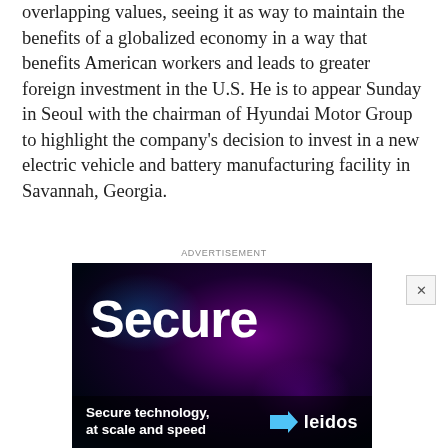overlapping values, seeing it as way to maintain the benefits of a globalized economy in a way that benefits American workers and leads to greater foreign investment in the U.S. He is to appear Sunday in Seoul with the chairman of Hyundai Motor Group to highlight the company's decision to invest in a new electric vehicle and battery manufacturing facility in Savannah, Georgia.
ADVERTISEMENT
[Figure (photo): Advertisement for Leidos with dark purple/blue background showing the word 'Secure' in large white bold text and a bottom banner reading 'Secure technology, at scale and speed' with a Leidos logo and arrow icon.]